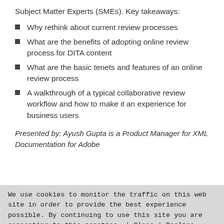Subject Matter Experts (SMEs). Key takeaways:
Why rethink about current review processes
What are the benefits of adopting online review process for DITA content
What are the basic tenets and features of an online review process
A walkthrough of a typical collaborative review workflow and how to make it an experience for business users
Presented by: Ayush Gupta is a Product Manager for XML Documentation for Adobe
We use cookies to monitor the traffic on this web site in order to provide the best experience possible. By continuing to use this site you are consenting to this practice. | Close | Decline